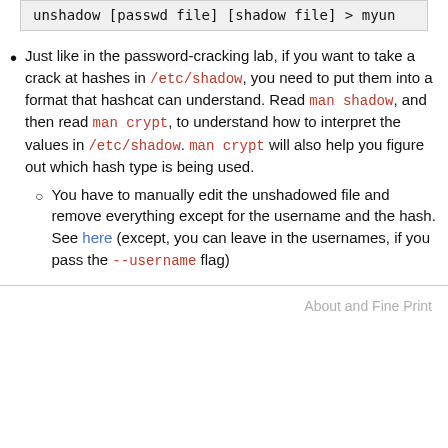unshadow [passwd file] [shadow file] > myun
Just like in the password-cracking lab, if you want to take a crack at hashes in /etc/shadow, you need to put them into a format that hashcat can understand. Read man shadow, and then read man crypt, to understand how to interpret the values in /etc/shadow. man crypt will also help you figure out which hash type is being used.
You have to manually edit the unshadowed file and remove everything except for the username and the hash. See here (except, you can leave in the usernames, if you pass the --username flag)
About and Fine Print